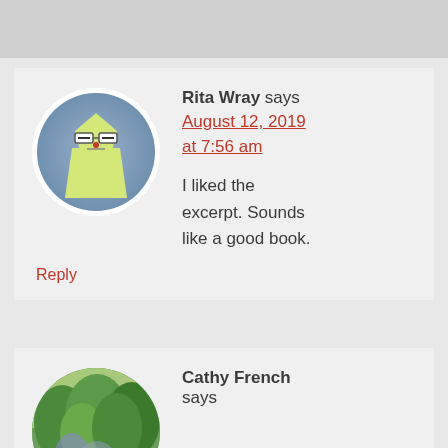Rita Wray says
August 12, 2019 at 7:56 am
I liked the excerpt. Sounds like a good book.
Reply
Cathy French says